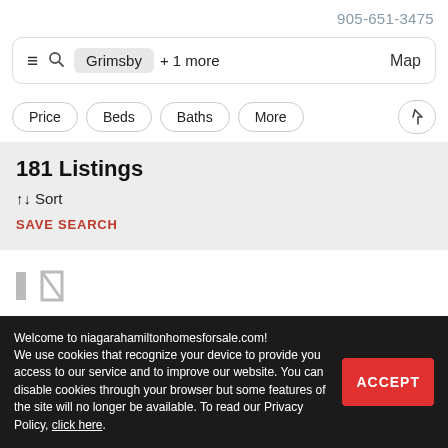905-651-3475
Grimsby + 1 more   Map
Price   Beds   Baths   More
181 Listings
↑↓ Sort
SAVE SEARCH
Welcome to niagarahamiltonhomesforsale.com! We use cookies that recognize your device to provide you access to our service and to improve our website. You can disable cookies through your browser but some features of the site will no longer be available. To read our Privacy Policy, click here.